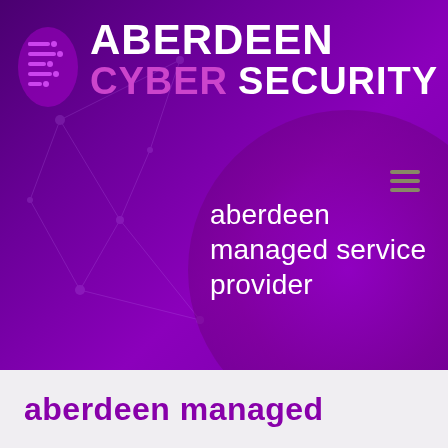[Figure (logo): Aberdeen Cyber Security logo with purple shield icon and company name. Hero banner with dark purple/violet gradient background, network node lines overlay, and a large circular purple shape bottom-right. Hamburger menu icon visible.]
aberdeen managed service provider
aberdeen managed